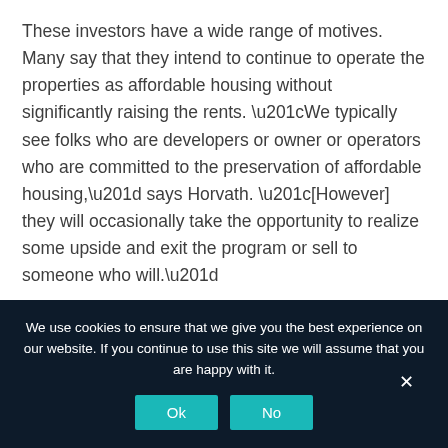These investors have a wide range of motives. Many say that they intend to continue to operate the properties as affordable housing without significantly raising the rents. “We typically see folks who are developers or owner or operators who are committed to the preservation of affordable housing,” says Horvath. “[However] they will occasionally take the opportunity to realize some upside and exit the program or sell to someone who will.”
We use cookies to ensure that we give you the best experience on our website. If you continue to use this site we will assume that you are happy with it.